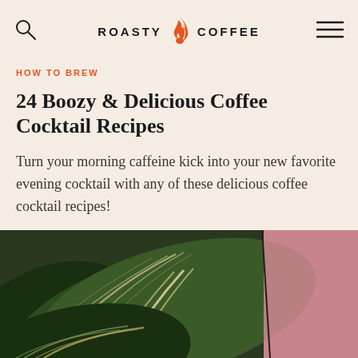ROASTY COFFEE
HOW TO BREW
24 Boozy & Delicious Coffee Cocktail Recipes
Turn your morning caffeine kick into your new favorite evening cocktail with any of these delicious coffee cocktail recipes!
[Figure (photo): Close-up photo of large tropical green leaves with white stripe patterns (Calathea or similar plant) against a pink background, viewed from above]